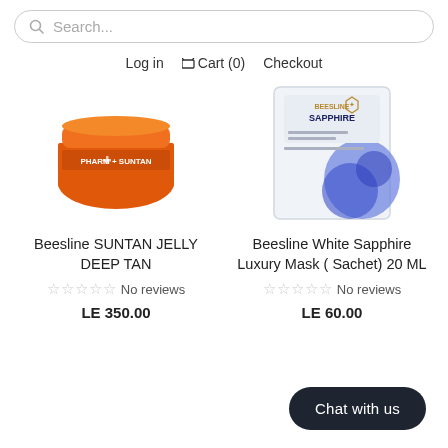[Figure (screenshot): Search bar with magnifying glass icon and placeholder text 'Search...']
Log in   Cart (0)   Checkout
[Figure (photo): Orange round jar product - Beesline Suntan Jelly Deep Tan]
[Figure (photo): White sachet packet product - Beesline White Sapphire Luxury Mask]
Beesline SUNTAN JELLY DEEP TAN
☆☆☆☆☆ No reviews
LE 350.00
Beesline White Sapphire Luxury Mask ( Sachet) 20 ML
☆☆☆☆☆ No reviews
LE 60.00
Chat with us